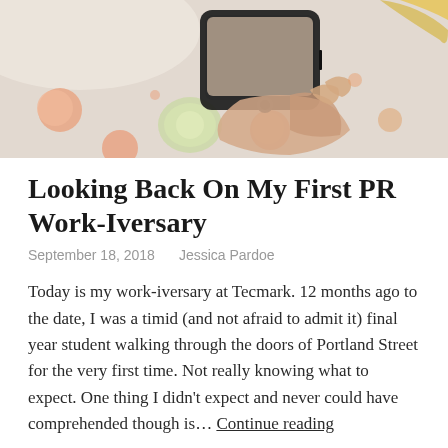[Figure (photo): Person holding a smartphone photographing a flat lay scene with food items, macarons and drinks on a white surface, viewed from above.]
Looking Back On My First PR Work-Iversary
September 18, 2018   Jessica Pardoe
Today is my work-iversary at Tecmark. 12 months ago to the date, I was a timid (and not afraid to admit it) final year student walking through the doors of Portland Street for the very first time. Not really knowing what to expect. One thing I didn't expect and never could have comprehended though is… Continue reading